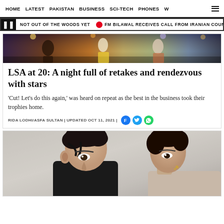HOME   LATEST   PAKISTAN   BUSINESS   SCI-TECH   PHONES   W ☰
NOT OUT OF THE WOODS YET  •  FM BILAWAL RECEIVES CALL FROM IRANIAN COUN
[Figure (photo): Stage performance photo showing performers in colorful costumes on a stage with lighting]
LSA at 20: A night full of retakes and rendezvous with stars
'Cut! Let's do this again,' was heard on repeat as the best in the business took their trophies home.
RIDA LODHI/ASFA SULTAN | UPDATED OCT 11, 2021 |
[Figure (photo): Two people photographed closely, a man with dark hair and a woman partially visible, likely celebrities at the LSA event]